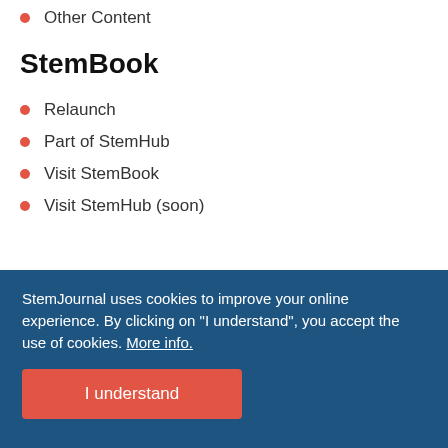Other Content
StemBook
Relaunch
Part of StemHub
Visit StemBook
Visit StemHub (soon)
StemJournal uses cookies to improve your online experience. By clicking on "I understand", you accept the use of cookies. More info.
I understand